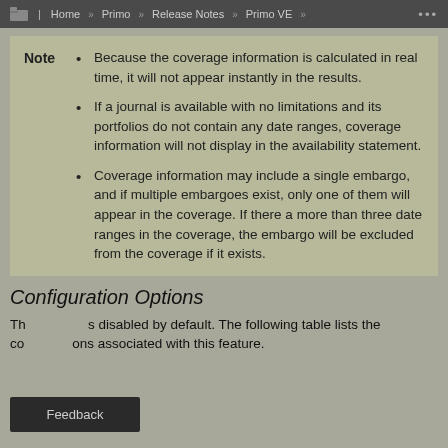Home » Primo » Release Notes » Primo VE »
Because the coverage information is calculated in real time, it will not appear instantly in the results.
If a journal is available with no limitations and its portfolios do not contain any date ranges, coverage information will not display in the availability statement.
Coverage information may include a single embargo, and if multiple embargoes exist, only one of them will appear in the coverage. If there a more than three date ranges in the coverage, the embargo will be excluded from the coverage if it exists.
Configuration Options
This feature is disabled by default. The following table lists the configuration options associated with this feature.